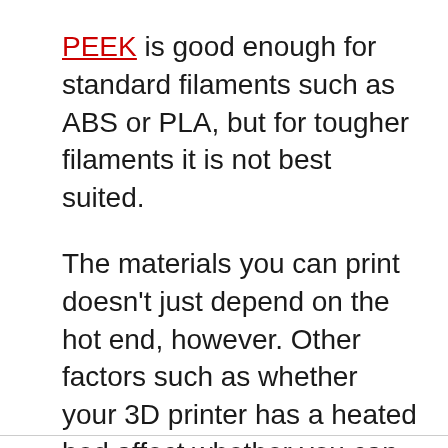PEEK is good enough for standard filaments such as ABS or PLA, but for tougher filaments it is not best suited.
The materials you can print doesn't just depend on the hot end, however. Other factors such as whether your 3D printer has a heated bed affect whether you can print ABS, PETG, Nylon and several other filaments.